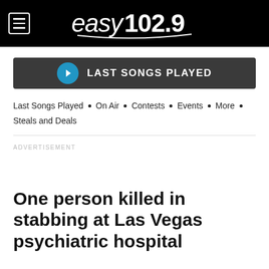easy102.9
[Figure (infographic): Dark rounded rectangle button with blue circle arrow icon and text 'LAST SONGS PLAYED']
Last Songs Played • On Air • Contests • Events • More • Steals and Deals
ADVERTISEMENT
One person killed in stabbing at Las Vegas psychiatric hospital